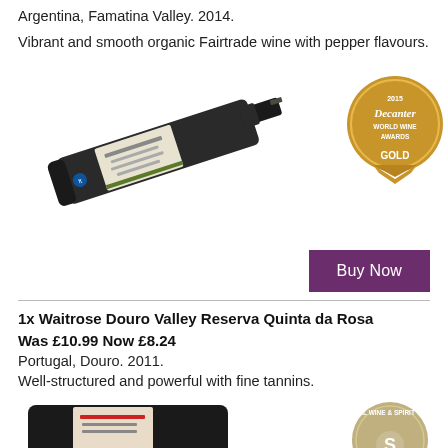Argentina, Famatina Valley. 2014.
Vibrant and smooth organic Fairtrade wine with pepper flavours.
[Figure (photo): Wine bottle (Tilinuqui Cabernet Sauvignon Bonarda) lying at an angle on a white background, with a Decanter World Wine Awards Gold medal badge on the right]
Buy Now
1x Waitrose Douro Valley Reserva Quinta da Rosa
Was £10.99 Now £8.24
Portugal, Douro. 2011.
Well-structured and powerful with fine tannins.
[Figure (photo): Partial view of a wine bottle at bottom left and a partial International Wine & Spirit Competition medal badge at bottom right]